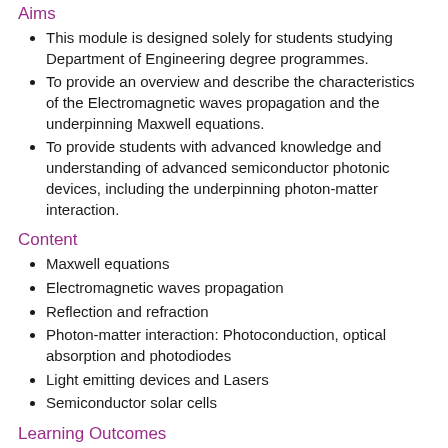Aims
This module is designed solely for students studying Department of Engineering degree programmes.
To provide an overview and describe the characteristics of the Electromagnetic waves propagation and the underpinning Maxwell equations.
To provide students with advanced knowledge and understanding of advanced semiconductor photonic devices, including the underpinning photon-matter interaction.
Content
Maxwell equations
Electromagnetic waves propagation
Reflection and refraction
Photon-matter interaction: Photoconduction, optical absorption and photodiodes
Light emitting devices and Lasers
Semiconductor solar cells
Learning Outcomes
Subject-specific Knowledge:
Understanding of electrodynamics.
Awareness of the state-of-the-art of microelectronic devices.
Understanding of the scope for further developments and an